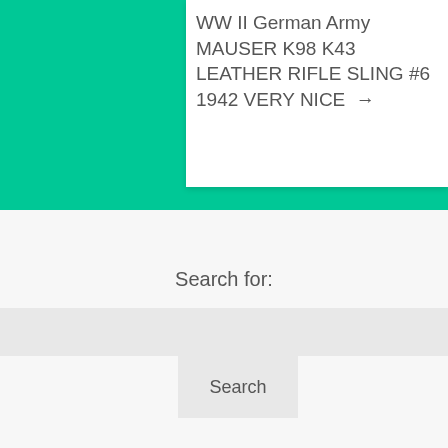WW II German Army MAUSER K98 K43 LEATHER RIFLE SLING #6 1942 VERY NICE →
Search for:
Search